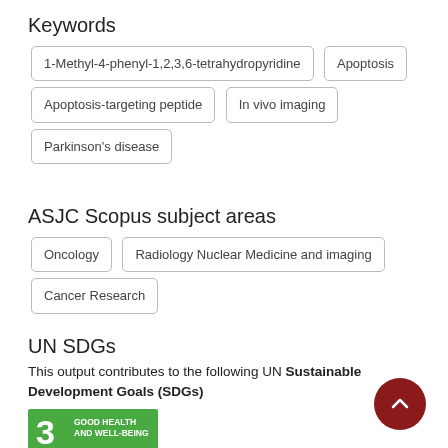Keywords
1-Methyl-4-phenyl-1,2,3,6-tetrahydropyridine
Apoptosis
Apoptosis-targeting peptide
In vivo imaging
Parkinson's disease
ASJC Scopus subject areas
Oncology
Radiology Nuclear Medicine and imaging
Cancer Research
UN SDGs
This output contributes to the following UN Sustainable Development Goals (SDGs)
[Figure (infographic): UN SDG 3 badge: Good Health and Well-Being, green background with number 3 and health icon]